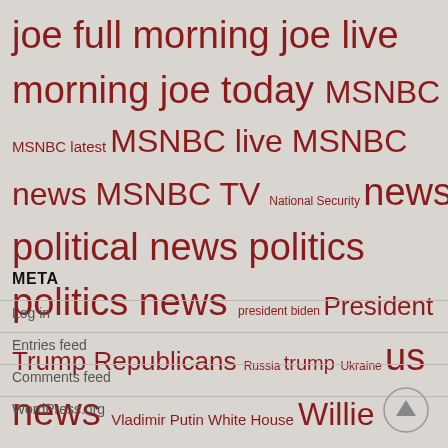[Figure (infographic): Tag cloud with political/news terms in dark red at varying font sizes. Terms include: joe full morning joe live morning joe today, MSNBC, MSNBC latest, MSNBC live, MSNBC news, MSNBC TV, National Security, news, political news, politics, politics news, president biden, President Trump, Republicans, Russia, trump, Ukraine, us news, Vladimir Putin, White House, Willie Geist]
META
Log in
Entries feed
Comments feed
WordPress.org